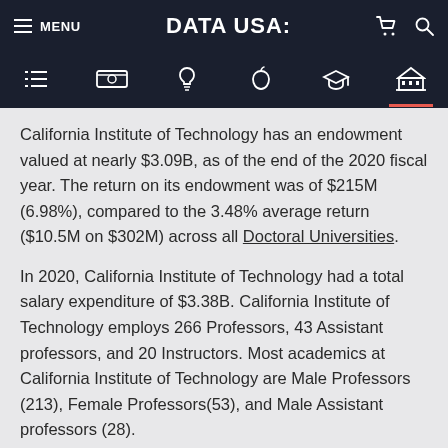MENU | DATA USA: | [cart] [search]
California Institute of Technology has an endowment valued at nearly $3.09B, as of the end of the 2020 fiscal year. The return on its endowment was of $215M (6.98%), compared to the 3.48% average return ($10.5M on $302M) across all Doctoral Universities.
In 2020, California Institute of Technology had a total salary expenditure of $3.38B. California Institute of Technology employs 266 Professors, 43 Assistant professors, and 20 Instructors. Most academics at California Institute of Technology are Male Professors (213), Female Professors(53), and Male Assistant professors (28).
The most common positions for non-instructional